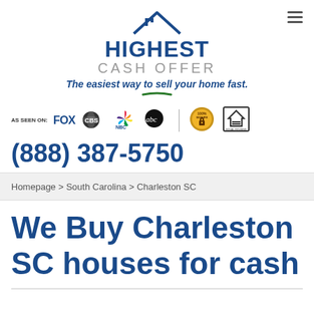[Figure (logo): Highest Cash Offer logo with house icon, 'HIGHEST' in blue bold, 'CASH OFFER' in gray, tagline 'The easiest way to sell your home fast.']
[Figure (infographic): As seen on: FOX, CBS, NBC, abc logos; 100% Secure badge; Equal Housing Opportunity badge]
(888) 387-5750
Homepage > South Carolina > Charleston SC
We Buy Charleston SC houses for cash